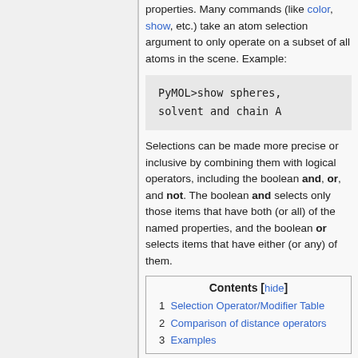properties. Many commands (like color, show, etc.) take an atom selection argument to only operate on a subset of all atoms in the scene. Example:
PyMOL>show spheres,
solvent and chain A
Selections can be made more precise or inclusive by combining them with logical operators, including the boolean and, or, and not. The boolean and selects only those items that have both (or all) of the named properties, and the boolean or selects items that have either (or any) of them.
Contents [hide]
1 Selection Operator/Modifier Table
2 Comparison of distance operators
3 Examples